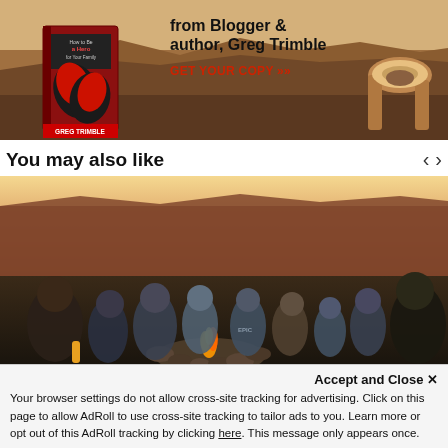[Figure (photo): Advertisement banner for a book by blogger and author Greg Trimble, showing boxing gloves on a book cover, a desert landscape background with an arch rock formation, and a red 'GET YOUR COPY >>' call-to-action button.]
You may also like
[Figure (photo): Group of people sitting in a circle around a campfire in an outdoor desert/canyon setting at dusk.]
Accept and Close ✕
Your browser settings do not allow cross-site tracking for advertising. Click on this page to allow AdRoll to use cross-site tracking to tailor ads to you. Learn more or opt out of this AdRoll tracking by clicking here. This message only appears once.